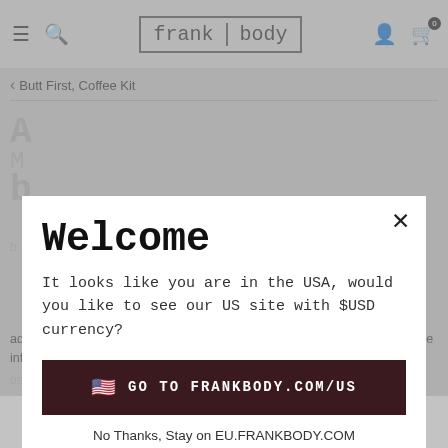frank body — navigation bar with hamburger, search, logo, user icon, cart
< Butt First, Coffee Kit
[Figure (screenshot): Frank Body e-commerce website with a welcome modal dialog overlaying the product page. The modal has a close X button, title 'Welcome', body text 'It looks like you are in the USA, would you like to see our US site with $USD currency?', a dark button 'GO TO FRANKBODY.COM/US' with a USA flag emoji, and a link 'No Thanks, Stay on EU.FRANKBODY.COM'. Behind the modal is a greyed-out product page for 'Butt First, Coffee Kit'. At the bottom is a cookie consent banner with text about ad personalisation, a cookie policy link, and an OK button.]
ad personalisation and measurement. One such partner is Google. For more information see our cookie policy.
No Thanks, Stay on EU.FRANKBODY.COM